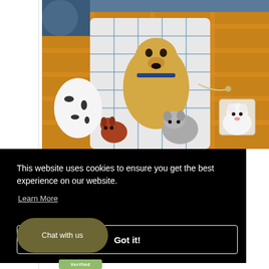[Figure (photo): Close-up photo of an orange/tan plaid jacket or blanket with dog faces printed on the fabric lining and exterior. Multiple dog breeds visible including a golden retriever, dalmatian, small brown dog, grey dog, and white fluffy dog on a pocket. Background is a blue-grey surface.]
This website uses cookies to ensure you get the best experience on our website.
Learn More
Got it!
Chat with us
Verified